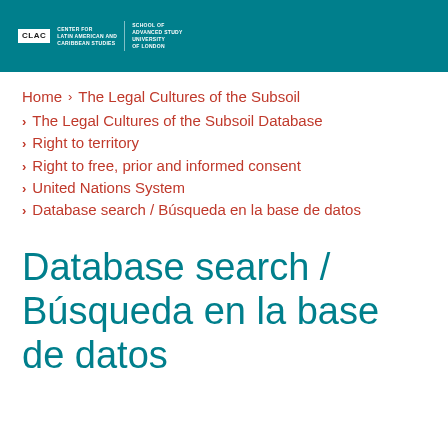CLAC | CENTER FOR LATIN AMERICAN AND CARIBBEAN STUDIES | SCHOOL OF ADVANCED STUDY UNIVERSITY OF LONDON
Home > The Legal Cultures of the Subsoil
The Legal Cultures of the Subsoil Database
Right to territory
Right to free, prior and informed consent
United Nations System
Database search / Búsqueda en la base de datos
Database search / Búsqueda en la base de datos